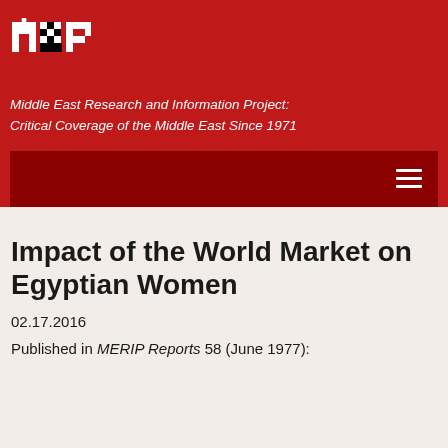[Figure (logo): MERIP logo — bold black and white MRP letters on red background]
Middle East Research and Information Project: Critical Coverage of the Middle East Since 1971
Impact of the World Market on Egyptian Women
02.17.2016
Published in MERIP Reports 58 (June 1977):